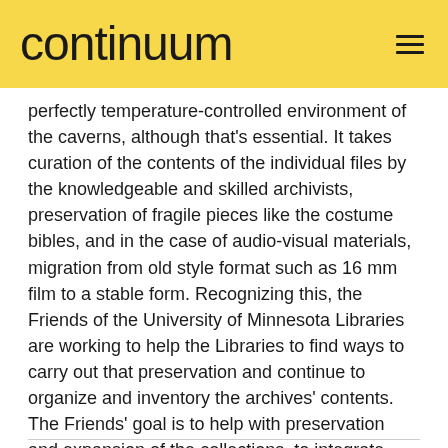continuum
perfectly temperature-controlled environment of the caverns, although that’s essential. It takes curation of the contents of the individual files by the knowledgeable and skilled archivists, preservation of fragile pieces like the costume bibles, and in the case of audio-visual materials, migration from old style format such as 16 mm film to a stable form. Recognizing this, the Friends of the University of Minnesota Libraries are working to help the Libraries to find ways to carry out that preservation and continue to organize and inventory the archives’ contents. The Friends’ goal is to help with preservation and expansion of the collections, to integrate them more deeply into University curriculum and projects, and to showcase them nationally and online.
Pete Magee
President, Friends of the Libraries